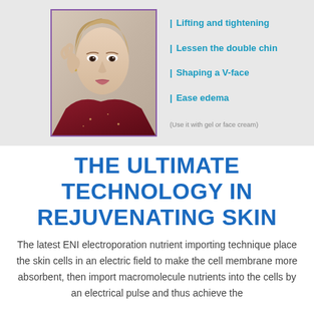[Figure (photo): Young woman touching her face, wearing a dark red top, posed against a light background with purple-bordered frame]
| Lifting and tightening
| Lessen the double chin
| Shaping a V-face
| Ease edema
(Use it with gel or face cream)
THE ULTIMATE TECHNOLOGY IN REJUVENATING SKIN
The latest ENI electroporation nutrient importing technique place the skin cells in an electric field to make the cell membrane more absorbent, then import macromolecule nutrients into the cells by an electrical pulse and thus achieve the